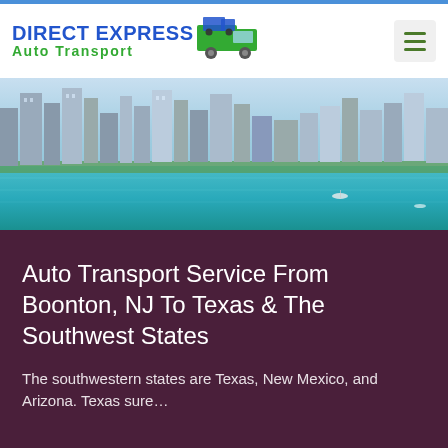[Figure (logo): Direct Express Auto Transport logo with truck icon, blue and green text]
[Figure (photo): Aerial view of a city skyline with waterfront and turquoise water, likely Chicago lakefront]
Auto Transport Service From Boonton, NJ To Texas & The Southwest States
The southwestern states are Texas, New Mexico, and Arizona. Texas sure…
Ready to Quote
Read More →